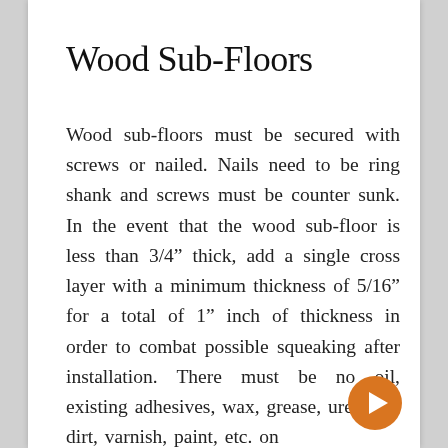Wood Sub-Floors
Wood sub-floors must be secured with screws or nailed. Nails need to be ring shank and screws must be counter sunk. In the event that the wood sub-floor is less than 3/4” thick, add a single cross layer with a minimum thickness of 5/16” for a total of 1” inch of thickness in order to combat possible squeaking after installation. There must be no oil, existing adhesives, wax, grease, urethane, dirt, varnish, paint, etc. on
[Figure (other): Orange circular navigation button with a white right-pointing arrow/play icon]